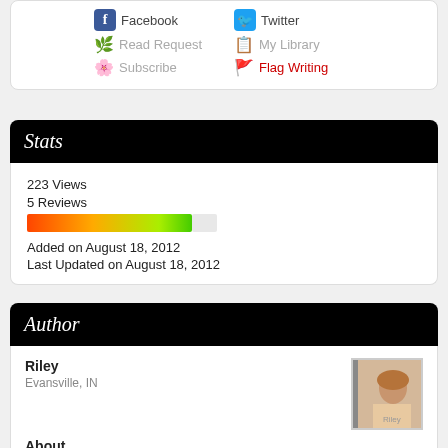Facebook
Twitter
Read Request
My Library
Subscribe
Flag Writing
Stats
223 Views
5 Reviews
Added on August 18, 2012
Last Updated on August 18, 2012
Author
Riley
Evansville, IN
About